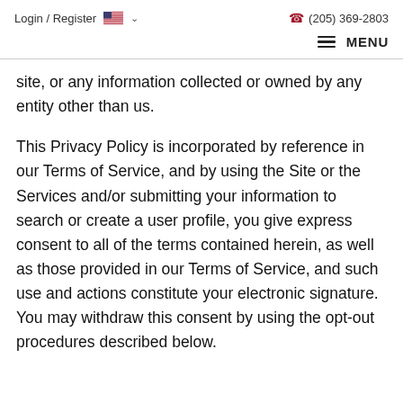Login / Register  🇺🇸 ∨    ☎ (205) 369-2803
≡ MENU
site, or any information collected or owned by any entity other than us.
This Privacy Policy is incorporated by reference in our Terms of Service, and by using the Site or the Services and/or submitting your information to search or create a user profile, you give express consent to all of the terms contained herein, as well as those provided in our Terms of Service, and such use and actions constitute your electronic signature. You may withdraw this consent by using the opt-out procedures described below.